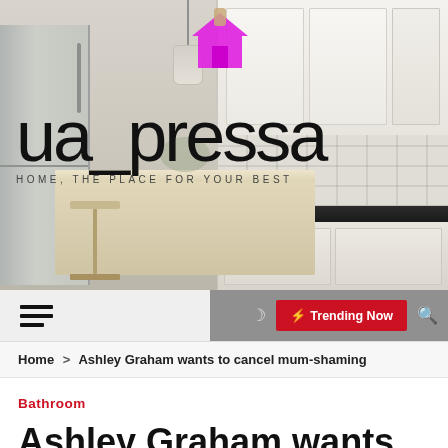[Figure (photo): Website header for ua_pressa with a kitchen interior background showing white cabinets, a kitchen island with barstools, refrigerator, pendant light, and backsplash tiles. Site logo 'ua_pressa' overlaid with a pink/magenta house icon and tagline 'HOME, THE PLACE FOR YOUR BEST'.]
ua_pressa HOME, THE PLACE FOR YOUR BEST
≡  ☾  ⚡ Trending Now  🔍
Home > Ashley Graham wants to cancel mum-shaming
Bathroom
Ashley Graham wants to